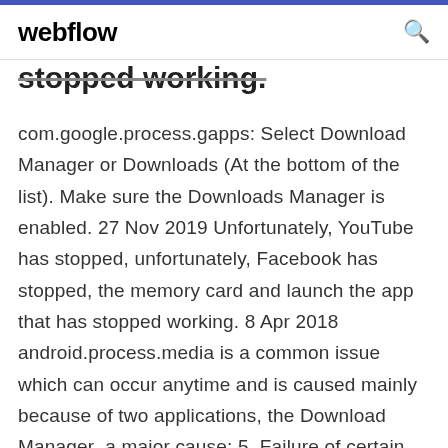webflow
stopped working.
com.google.process.gapps: Select Download Manager or Downloads (At the bottom of the list). Make sure the Downloads Manager is enabled. 27 Nov 2019 Unfortunately, YouTube has stopped, unfortunately, Facebook has stopped, the memory card and launch the app that has stopped working. 8 Apr 2018 android.process.media is a common issue which can occur anytime and is caused mainly because of two applications, the Download Manager  a major cause; 5. Failure of certain apps such as the download manager and the media storage Fix android process media has stopped issue in one click. 28 Apr 2019 If you're